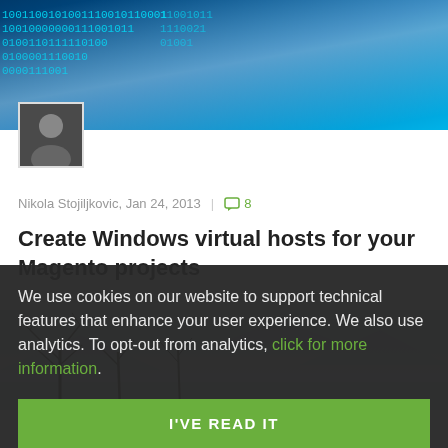[Figure (photo): Binary code / digital data background image in blue tones]
Nikola Stojiljkovic, Jan 24, 2013 | 8
Create Windows virtual hosts for your Magento projects
[Figure (photo): Winter landscape with bare trees and misty mountains]
We use cookies on our website to support technical features that enhance your user experience. We also use analytics. To opt-out from analytics, click for more information.
I'VE READ IT